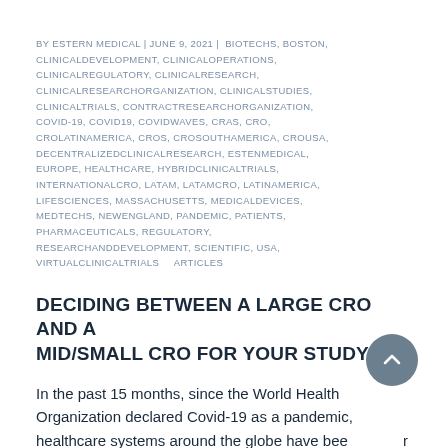BY ESTERN MEDICAL | JUNE 9, 2021 | BIOTECHS, BOSTON, CLINICALDEVELOPMENT, CLINICALOPERATIONS, CLINICALREGULATORY, CLINICALRESEARCH, CLINICALRESEARCHORGANIZATION, CLINICALSTUDIES, CLINICALTRIALS, CONTRACTRESEARCHORGANIZATION, COVID-19, COVID19, COVIDWAVES, CRAS, CRO, CROLATINAMERICA, CROS, CROSOUTHAMERICA, CROUSA, DECENTRALIZEDCLINICALRESEARCH, ESTENMEDICAL, EUROPE, HEALTHCARE, HYBRIDCLINICALTRIALS, INTERNATIONALCRO, LATAM, LATAMCRO, LATINAMERICA, LIFESCIENCES, MASSACHUSETTS, MEDICALDEVICES, MEDTECHS, NEWENGLAND, PANDEMIC, PATIENTS, PHARMACEUTICALS, REGULATORY, RESEARCHANDDEVELOPMENT, SCIENTIFIC, USA, VIRTUALCLINICALTRIALS    ARTICLES
DECIDING BETWEEN A LARGE CRO AND A MID/SMALL CRO FOR YOUR STUDY
In the past 15 months, since the World Health Organization declared Covid-19 as a pandemic, healthcare systems around the globe have been under immense clinical trials R&D and regulatory pressure.